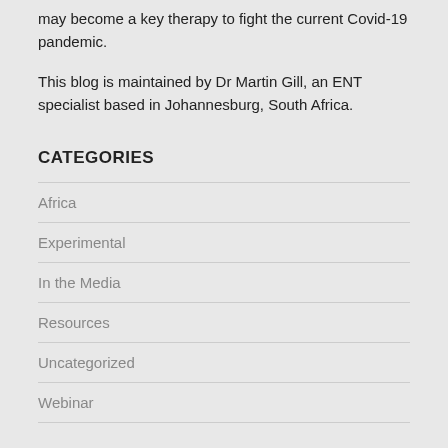may become a key therapy to fight the current Covid-19 pandemic.
This blog is maintained by Dr Martin Gill, an ENT specialist based in Johannesburg, South Africa.
CATEGORIES
Africa
Experimental
In the Media
Resources
Uncategorized
Webinar